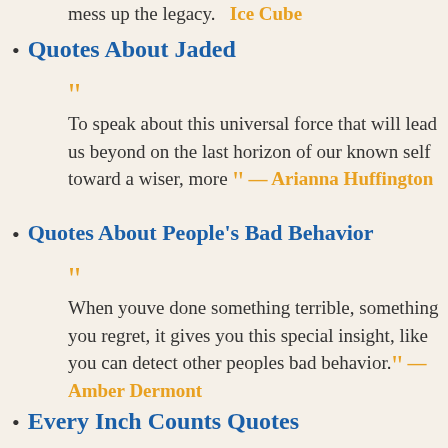mess up the legacy. — Ice Cube
Quotes About Jaded
“To speak about this universal force that will lead us beyond on the last horizon of our known self toward a wiser, more” — Arianna Huffington
Quotes About People's Bad Behavior
“When youve done something terrible, something you regret, it gives you this special insight, like you can detect other peoples bad behavior.” — Amber Dermont
Every Inch Counts Quotes